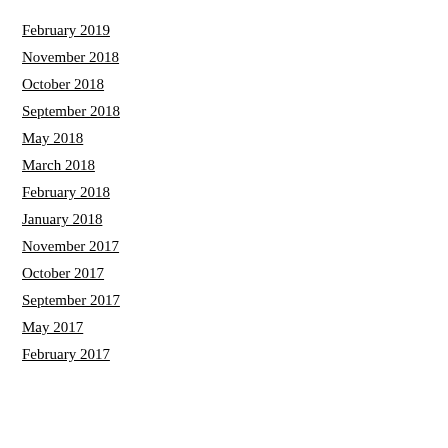February 2019
November 2018
October 2018
September 2018
May 2018
March 2018
February 2018
January 2018
November 2017
October 2017
September 2017
May 2017
February 2017